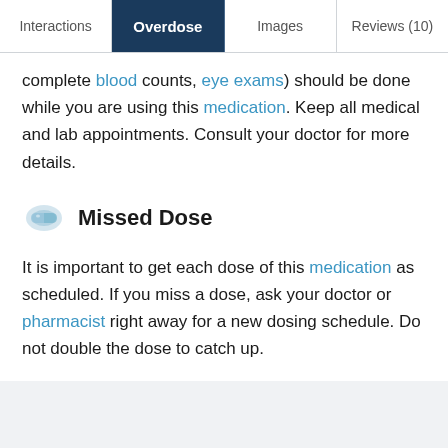Interactions | Overdose | Images | Reviews (10)
complete blood counts, eye exams) should be done while you are using this medication. Keep all medical and lab appointments. Consult your doctor for more details.
Missed Dose
It is important to get each dose of this medication as scheduled. If you miss a dose, ask your doctor or pharmacist right away for a new dosing schedule. Do not double the dose to catch up.